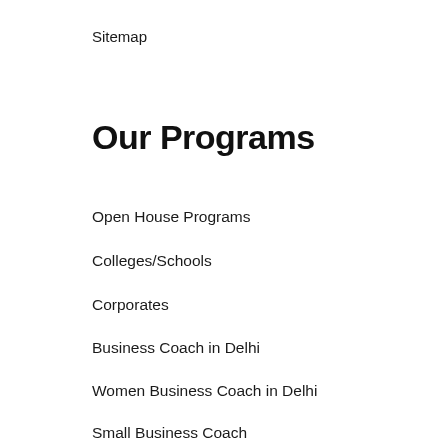Sitemap
Our Programs
Open House Programs
Colleges/Schools
Corporates
Business Coach in Delhi
Women Business Coach in Delhi
Small Business Coach
Motivational Speaker